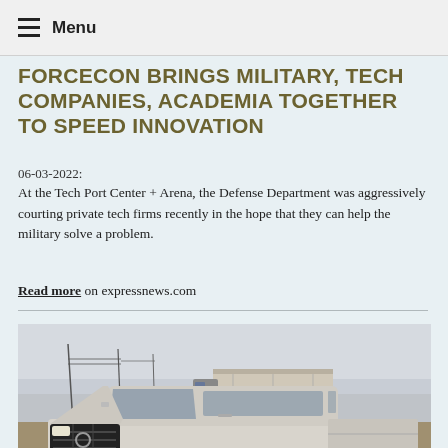Menu
FORCECON BRINGS MILITARY, TECH COMPANIES, ACADEMIA TOGETHER TO SPEED INNOVATION
06-03-2022:
At the Tech Port Center + Arena, the Defense Department was aggressively courting private tech firms recently in the hope that they can help the military solve a problem.
Read more on expressnews.com
[Figure (photo): A silver Toyota Tundra pickup truck in the foreground on a dusty road, with a large semi-truck with a trailer in the background under an open sky with power lines visible.]